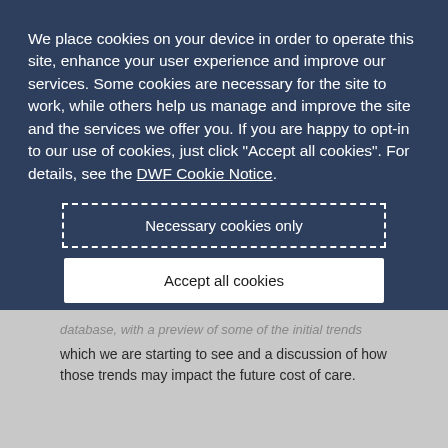We place cookies on your device in order to operate this site, enhance your user experience and improve our services. Some cookies are necessary for the site to work, while others help us manage and improve the site and the services we offer you. If you are happy to opt-in to our use of cookies, just click "Accept all cookies". For details, see the DWF Cookie Notice.
Necessary cookies only
Accept all cookies
+ Review our use of cookies and set your preferences
database, with a preview of some of the initial trends which we are starting to see and a discussion of how those trends may impact the future cost of care.